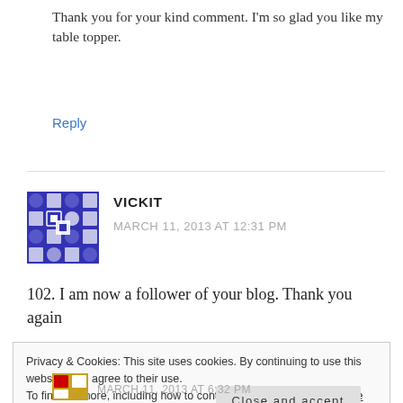Thank you for your kind comment. I'm so glad you like my table topper.
Reply
VICKIT
MARCH 11, 2013 AT 12:31 PM
102. I am now a follower of your blog. Thank you again
Privacy & Cookies: This site uses cookies. By continuing to use this website, you agree to their use.
To find out more, including how to control cookies, see here: Cookie Policy
Close and accept
MARCH 11, 2013 AT 6:32 PM